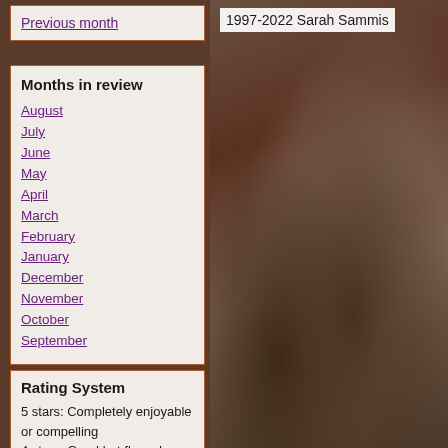Previous month
Months in review
August
July
June
May
April
March
February
January
December
November
October
September
[Figure (photo): Blurred close-up photo of smooth rounded stones/rocks in dark brownish tones]
1997-2022 Sarah Sammis
Rating System
5 stars: Completely enjoyable or compelling
4 stars: Good but flawed
3 stars: Average